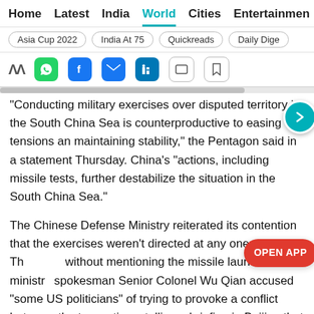Home  Latest  India  World  Cities  Entertainment
Asia Cup 2022  India At 75  Quickreads  Daily Dige
“Conducting military exercises over disputed territory in the South China Sea is counterproductive to easing tensions and maintaining stability,” the Pentagon said in a statement Thursday. China’s “actions, including missile tests, further destabilize the situation in the South China Sea.”
The Chinese Defense Ministry reiterated its contention that the exercises weren’t directed at any one nation Thursday, without mentioning the missile launch. Still, ministry spokesman Senior Colonel Wu Qian accused “some US politicians” of trying to provoke a conflict between the two nations, telling a briefing in Beijing that China was “not afraid.”
On Thursday, China’s military issued a statement saying it expelled a US Navy guided-missile destroyer that “trespassed”